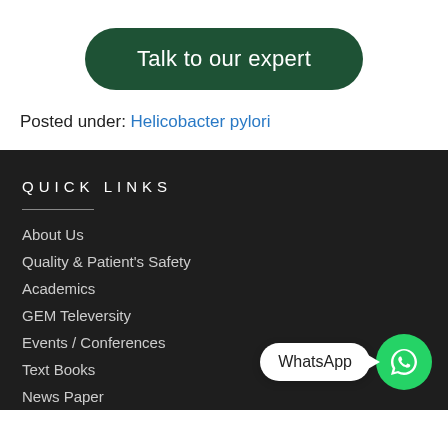Talk to our expert
Posted under: Helicobacter pylori
QUICK LINKS
About Us
Quality & Patient's Safety
Academics
GEM Televersity
Events / Conferences
Text Books
News Paper
[Figure (other): WhatsApp contact widget with green WhatsApp icon button and white speech bubble label]